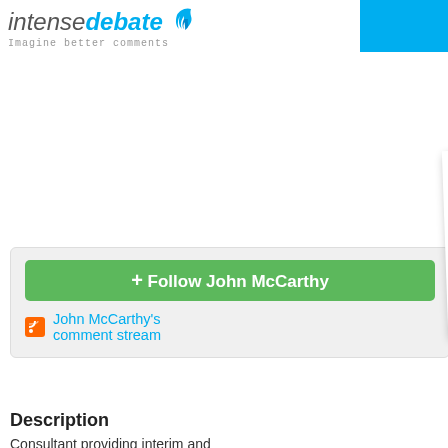[Figure (logo): IntenseDebate logo with flame graphic and tagline 'Imagine better comments']
[Figure (photo): Profile photo of John McCarthy, a middle-aged man with glasses, smiling, outdoors with green foliage background, presented as a polaroid-style photo]
John McCa…
5 comments posted
+ Follow John McCarthy
John McCarthy's comment stream
Description
Consultant providing interim and full-time CFO/COO services to tech companies and tech investors. Currently working with Etsy.com
Connect with John McCarthy
Facebook
LinkedIn
Twitter
13 years ago @ Feld Thoughts -
Brad,
FitLinxx has some products whic… href="http://www.fitlinxx.com/pro…
They also have a pedometer/acc… pedometer is the same technolo… company from which Nike licens… friendly, although they may have… year, I am not sure where they a… on making connections between
13 years ago @ Feld Thoughts -
Makes sense to allow potential c…